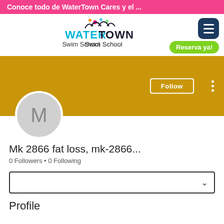Conoce todo de WaterTown Cares y el ...
[Figure (logo): WaterTown Swim School logo with colorful splash water graphic and text]
[Figure (screenshot): Social media profile page showing user 'Mk 2866 fat loss, mk-2866...' with 0 Followers and 0 Following, gold cover photo, avatar with letter M, Follow button, and dropdown selector]
Mk 2866 fat loss, mk-2866...
0 Followers • 0 Following
Profile